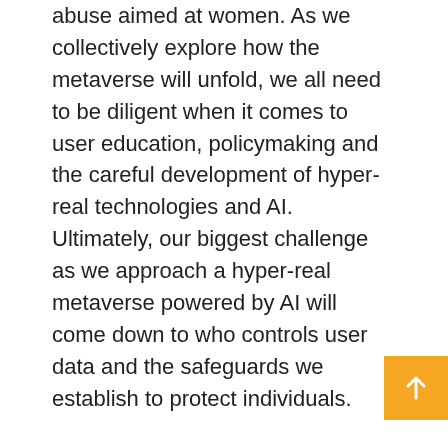abuse aimed at women. As we collectively explore how the metaverse will unfold, we all need to be diligent when it comes to user education, policymaking and the careful development of hyper-real technologies and AI. Ultimately, our biggest challenge as we approach a hyper-real metaverse powered by AI will come down to who controls user data and the safeguards we establish to protect individuals.
The first principle of securing your hyper-real identity in the metaverse is to positively assert ownership over your private biometric data. While it is up to governments to stop criminals from stealing your data and identity, at the very least, you can use blockchain technologies to stake a claim around your hyper-real identity and track its usage by legitimate content creators. Imagine securing your biometric data behind a nonfungible token (NFT) that